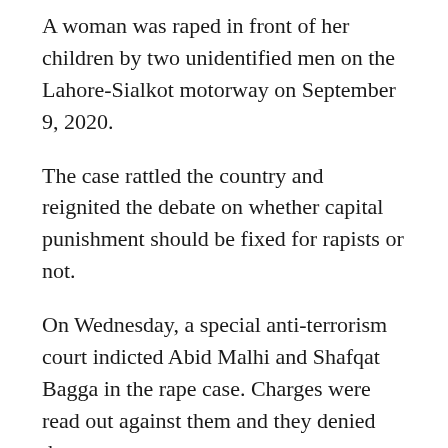A woman was raped in front of her children by two unidentified men on the Lahore-Sialkot motorway on September 9, 2020.
The case rattled the country and reignited the debate on whether capital punishment should be fixed for rapists or not.
On Wednesday, a special anti-terrorism court indicted Abid Malhi and Shafqat Bagga in the rape case. Charges were read out against them and they denied them.
The court instructed the prosecution to present their four witnesses at the next hearing.
Earlier, on February 7, challan of the case was handed over to the prosecution. The investigation officer told an anti-terrorism court that the challan has been given to the prosecution for scrutiny.